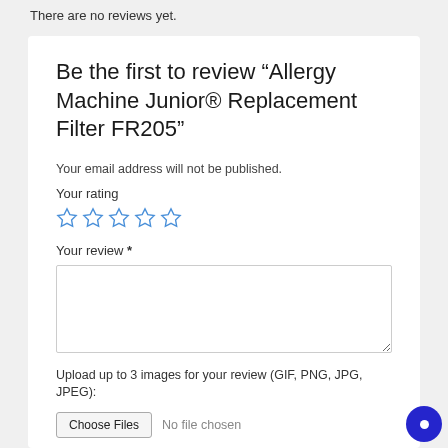There are no reviews yet.
Be the first to review “Allergy Machine Junior® Replacement Filter FR205”
Your email address will not be published.
Your rating
Your review *
Upload up to 3 images for your review (GIF, PNG, JPG, JPEG):
No file chosen
Name